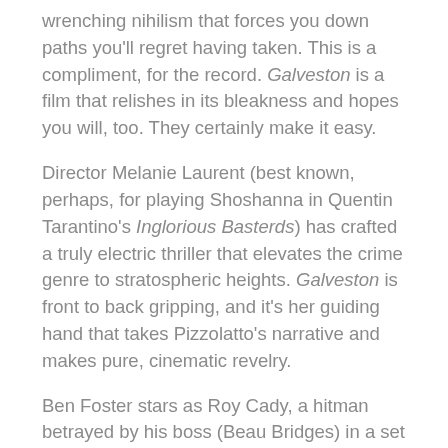wrenching nihilism that forces you down paths you'll regret having taken. This is a compliment, for the record. Galveston is a film that relishes in its bleakness and hopes you will, too. They certainly make it easy.
Director Melanie Laurent (best known, perhaps, for playing Shoshanna in Quentin Tarantino's Inglorious Basterds) has crafted a truly electric thriller that elevates the crime genre to stratospheric heights. Galveston is front to back gripping, and it's her guiding hand that takes Pizzolatto's narrative and makes pure, cinematic revelry.
Ben Foster stars as Roy Cady, a hitman betrayed by his boss (Beau Bridges) in a set up gone wrong. While making his escape from his would be murder, he rescues Raquel (Elle Fanning), a prostitute running from demons of her own. Together, the two plan a tactical retreat to Galveston, Texas, where Roy grew up, in order to plan their revenge.